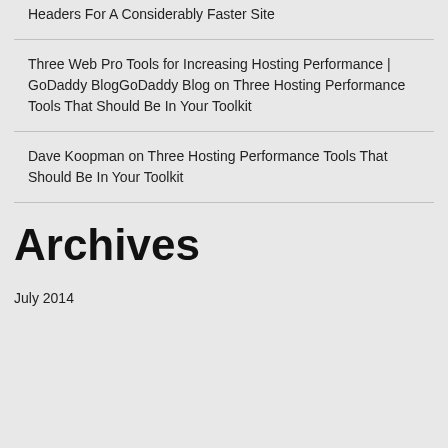Headers For A Considerably Faster Site
Three Web Pro Tools for Increasing Hosting Performance | GoDaddy BlogGoDaddy Blog on Three Hosting Performance Tools That Should Be In Your Toolkit
Dave Koopman on Three Hosting Performance Tools That Should Be In Your Toolkit
Archives
July 2014